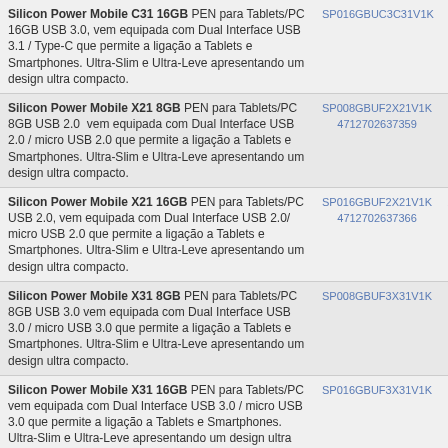Silicon Power Mobile C31 16GB PEN para Tablets/PC 16GB USB 3.0, vem equipada com Dual Interface USB 3.1 / Type-C que permite a ligação a Tablets e Smartphones. Ultra-Slim e Ultra-Leve apresentando um design ultra compacto. SP016GBUC3C31V1K info
Silicon Power Mobile X21 8GB PEN para Tablets/PC 8GB USB 2.0  vem equipada com Dual Interface USB 2.0 / micro USB 2.0 que permite a ligação a Tablets e Smartphones. Ultra-Slim e Ultra-Leve apresentando um design ultra compacto. SP008GBUF2X21V1K 4712702637359 info
Silicon Power Mobile X21 16GB PEN para Tablets/PC USB 2.0, vem equipada com Dual Interface USB 2.0/ micro USB 2.0 que permite a ligação a Tablets e Smartphones. Ultra-Slim e Ultra-Leve apresentando um design ultra compacto. SP016GBUF2X21V1K 4712702637366 info pdf
Silicon Power Mobile X31 8GB PEN para Tablets/PC 8GB USB 3.0 vem equipada com Dual Interface USB 3.0 / micro USB 3.0 que permite a ligação a Tablets e Smartphones. Ultra-Slim e Ultra-Leve apresentando um design ultra compacto. SP008GBUF3X31V1K info
Silicon Power Mobile X31 16GB PEN para Tablets/PC vem equipada com Dual Interface USB 3.0 / micro USB 3.0 que permite a ligação a Tablets e Smartphones. Ultra-Slim e Ultra-Leve apresentando um design ultra compacto. SP016GBUF3X31V1K info
Silicon Power Blaze B05 16GB azul Flash Memory USB3.0, Ultra Compacta, Ultra Rápida, Profissional, Compatível com todos os Sistemas Operativos. Em Azul. Dimensões: 53,9 x 20 x 10 mm. Peso 9,2g. SP016GBUF3B05V1D 4712702632422 info pdf